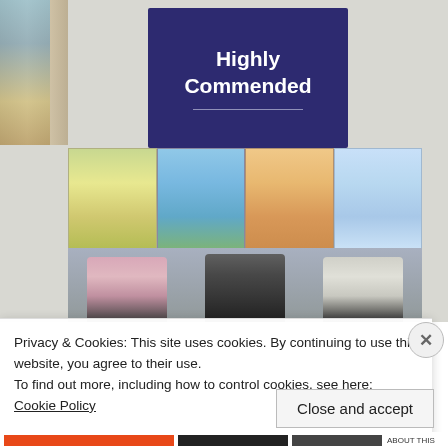[Figure (photo): Top portion shows a dark navy blue 'Highly Commended' sign on a white wall, with a left edge showing some artwork. Below is a photo of three teenage girls standing in front of a colorful four-panel textile artwork depicting trees in four seasons (spring, summer, autumn, winter). The girls are smiling; left girl wears a pink jacket, center girl wears a dark patterned top, right girl wears a light top.]
Privacy & Cookies: This site uses cookies. By continuing to use this website, you agree to their use.
To find out more, including how to control cookies, see here: Cookie Policy
Close and accept